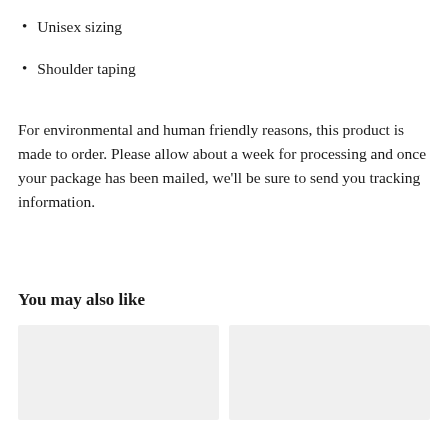Unisex sizing
Shoulder taping
For environmental and human friendly reasons, this product is made to order. Please allow about a week for processing and once your package has been mailed, we'll be sure to send you tracking information.
You may also like
[Figure (photo): Two product image placeholder boxes side by side]